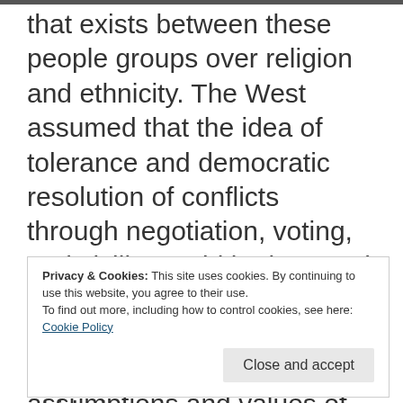that exists between these people groups over religion and ethnicity. The West assumed that the idea of tolerance and democratic resolution of conflicts through negotiation, voting, and civility could be imposed upon people whose worldview is totally different. The East does not share the assumptions and values of the West, and it is cultural arrogance to assume
Privacy & Cookies: This site uses cookies. By continuing to use this website, you agree to their use.
To find out more, including how to control cookies, see here:
Cookie Policy
[Close and accept]
them to appreciate them or abide by